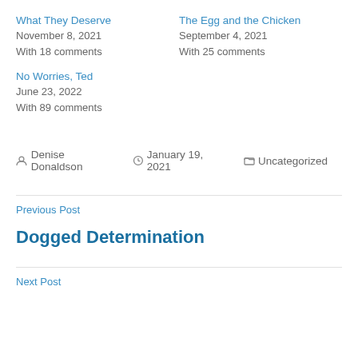What They Deserve
November 8, 2021
With 18 comments
The Egg and the Chicken
September 4, 2021
With 25 comments
No Worries, Ted
June 23, 2022
With 89 comments
By: Denise Donaldson  January 19, 2021  Uncategorized
Previous Post
Dogged Determination
Next Post